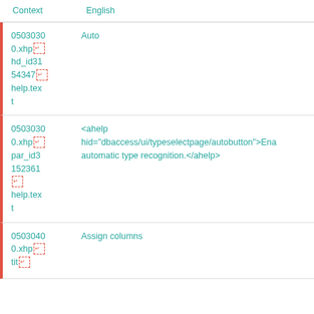| Context | English |
| --- | --- |
| 0503030
0.xhp
hd_id31
54347
help.text | Auto |
| 0503030
0.xhp
par_id3
152361
help.text | <ahelp hid="dbaccess/ui/typeselectpage/autobutton">Ena automatic type recognition.</ahelp> |
| 0503040
0.xhp
tit | Assign columns |